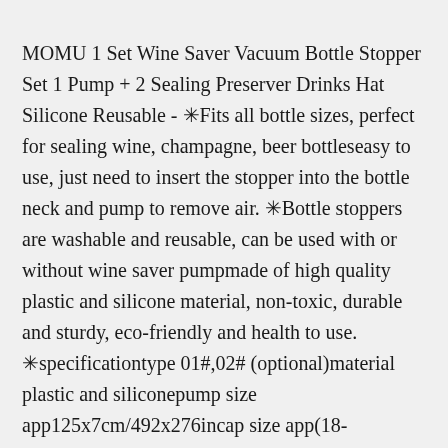MOMU 1 Set Wine Saver Vacuum Bottle Stopper Set 1 Pump + 2 Sealing Preserver Drinks Hat Silicone Reusable - ✳Fits all bottle sizes, perfect for sealing wine, champagne, beer bottleseasy to use, just need to insert the stopper into the bottle neck and pump to remove air. ✳Bottle stoppers are washable and reusable, can be used with or without wine saver pumpmade of high quality plastic and silicone material, non-toxic, durable and sturdy, eco-friendly and health to use. ✳specificationtype 01#,02# (optional)material plastic and siliconepump size app125x7cm/492x276incap size app(18-25)x38cm/(071-098)x150incolor blackquantity 1 set. ✳100% brand new and high quality. ✳The wine bottle sealer vacuum pump is used to preserve your wine for later using and includes two rubber stoppers that create an air-tight vacuum sealingpump with stoppers